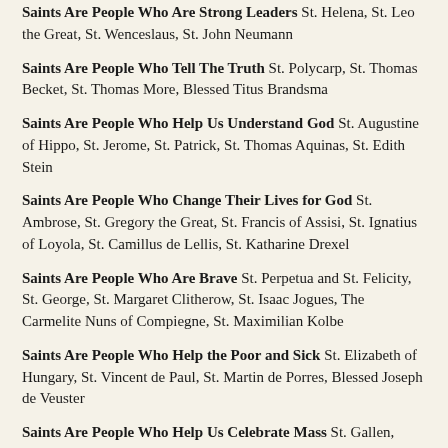Saints Are People Who Are Strong Leaders St. Helena, St. Leo the Great, St. Wenceslaus, St. John Neumann
Saints Are People Who Tell The Truth St. Polycarp, St. Thomas Becket, St. Thomas More, Blessed Titus Brandsma
Saints Are People Who Help Us Understand God St. Augustine of Hippo, St. Jerome, St. Patrick, St. Thomas Aquinas, St. Edith Stein
Saints Are People Who Change Their Lives for God St. Ambrose, St. Gregory the Great, St. Francis of Assisi, St. Ignatius of Loyola, St. Camillus de Lellis, St. Katharine Drexel
Saints Are People Who Are Brave St. Perpetua and St. Felicity, St. George, St. Margaret Clitherow, St. Isaac Jogues, The Carmelite Nuns of Compiegne, St. Maximilian Kolbe
Saints Are People Who Help the Poor and Sick St. Elizabeth of Hungary, St. Vincent de Paul, St. Martin de Porres, Blessed Joseph de Veuster
Saints Are People Who Help Us Celebrate Mass St. Thomas...